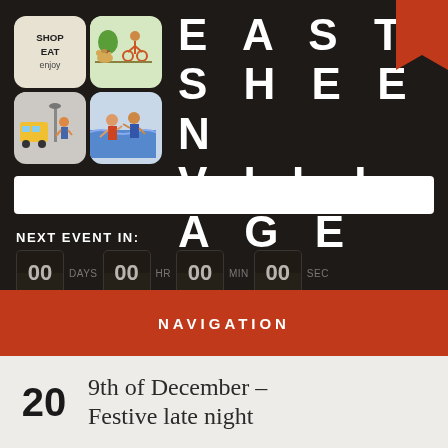[Figure (logo): East Sheen Village logo with four icon tiles (Shop Eat Enjoy, cycling/nature scene, street/transport scene, water/people scene) and bold uppercase text EAST SHEEN VILLAGE on dark background with red ribbon bookmark]
NEXT EVENT IN:
00 DAYS 00 HR 00 MIN 00 SEC
NAVIGATION
20   9th of December – Festive late night